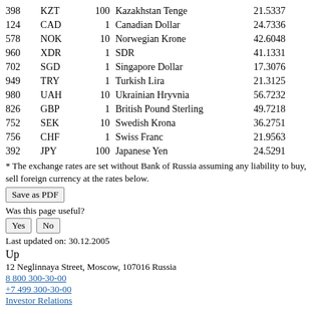|  | Code | Unit | Name | Rate |
| --- | --- | --- | --- | --- |
| 398 | KZT | 100 | Kazakhstan Tenge | 21.5337 |
| 124 | CAD | 1 | Canadian Dollar | 24.7336 |
| 578 | NOK | 10 | Norwegian Krone | 42.6048 |
| 960 | XDR | 1 | SDR | 41.1331 |
| 702 | SGD | 1 | Singapore Dollar | 17.3076 |
| 949 | TRY | 1 | Turkish Lira | 21.3125 |
| 980 | UAH | 10 | Ukrainian Hryvnia | 56.7232 |
| 826 | GBP | 1 | British Pound Sterling | 49.7218 |
| 752 | SEK | 10 | Swedish Krona | 36.2751 |
| 756 | CHF | 1 | Swiss Franc | 21.9563 |
| 392 | JPY | 100 | Japanese Yen | 24.5291 |
* The exchange rates are set without Bank of Russia assuming any liability to buy, sell foreign currency at the rates below.
Save as PDF
Was this page useful?
Yes  No
Last updated on: 30.12.2005
Up
12 Neglinnaya Street, Moscow, 107016 Russia
8 800 300-30-00
+7 499 300-30-00
Investor Relations